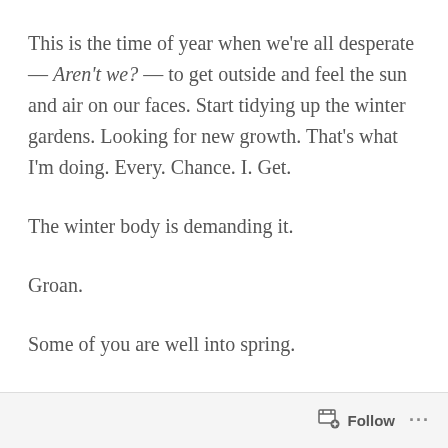This is the time of year when we're all desperate — Aren't we? — to get outside and feel the sun and air on our faces. Start tidying up the winter gardens. Looking for new growth. That's what I'm doing. Every. Chance. I. Get.
The winter body is demanding it.
Groan.
Some of you are well into spring.
Follow ...